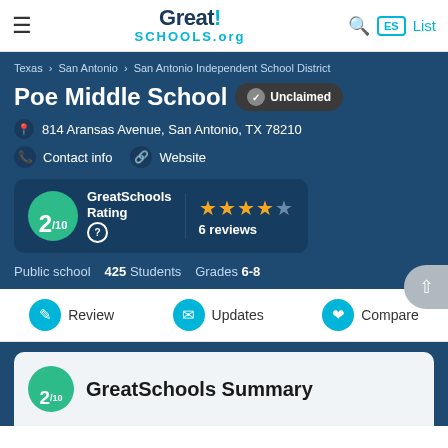GreatSchools.org
Texas › San Antonio › San Antonio Independent School District
Poe Middle School
Unclaimed
814 Aransas Avenue, San Antonio, TX 78210
Contact info
Website
GreatSchools Rating  2/10  ★★★★☆  6 reviews
Public school  425 Students  Grades 6-8
Review  Updates  Compare
GreatSchools Summary